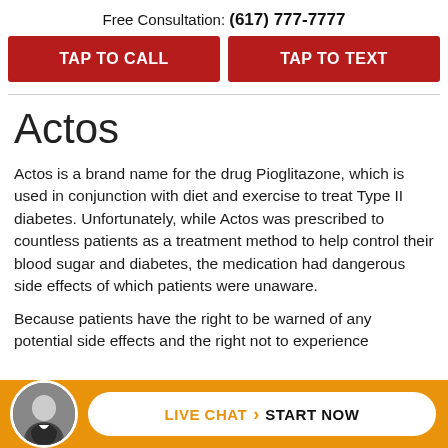Free Consultation: (617) 777-7777
TAP TO CALL
TAP TO TEXT
Actos
Actos is a brand name for the drug Pioglitazone, which is used in conjunction with diet and exercise to treat Type II diabetes. Unfortunately, while Actos was prescribed to countless patients as a treatment method to help control their blood sugar and diabetes, the medication had dangerous side effects of which patients were unaware.
Because patients have the right to be warned of any potential side effects and the right not to experience
LIVE CHAT › START NOW